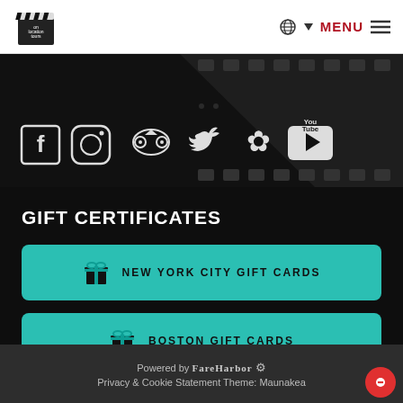[Figure (logo): On Location Tours clapperboard logo]
MENU
[Figure (screenshot): Film strip background with social media icons: Facebook, Instagram, TripAdvisor, Twitter, Yelp, YouTube]
GIFT CERTIFICATES
NEW YORK CITY GIFT CARDS
BOSTON GIFT CARDS
Powered by FareHarbor  Privacy & Cookie Statement Theme: Maunakea